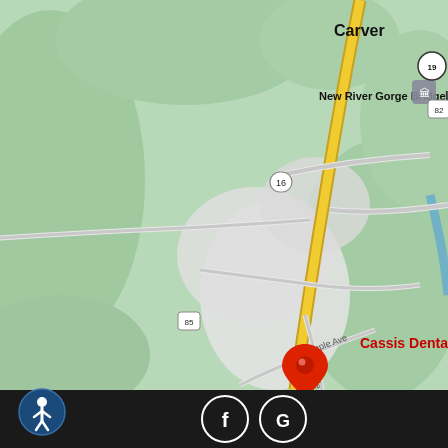[Figure (map): Google Maps view showing Cassis Dental Center location in Fayetteville, WV area. Map shows surrounding landmarks including New River Gorge Bridge, Carver, Long Point Trailhead, Walmart Supercenter, and a campground. Roads including US-19, Route 16, Route 82, Route 85, Route 8, Route 9 are visible. A red location pin marks Cassis Dental Center on the main route through town. W Maple Ave and Nickelville Rd are labeled. Scale shows 1/23 and 1/2.]
[Figure (infographic): Black footer bar with accessibility icon (person in circle) on left, Facebook icon (F in circle) and Google icon (G in circle) in center.]